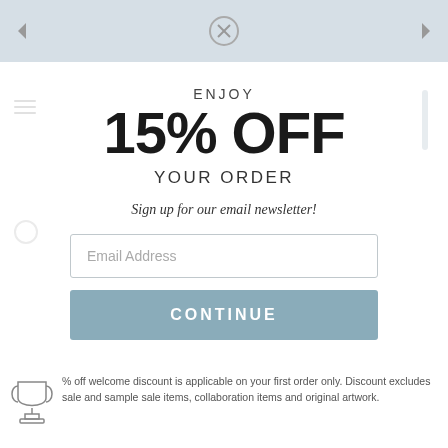Navigation bar with back arrow, close button, forward arrow
ENJOY
15% OFF
YOUR ORDER
Sign up for our email newsletter!
Email Address
CONTINUE
% off welcome discount is applicable on your first order only. Discount excludes sale and sample sale items, collaboration items and original artwork.